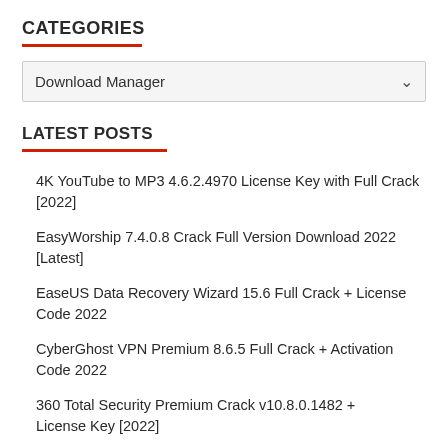CATEGORIES
Download Manager
LATEST POSTS
4K YouTube to MP3 4.6.2.4970 License Key with Full Crack [2022]
EasyWorship 7.4.0.8 Crack Full Version Download 2022 [Latest]
EaseUS Data Recovery Wizard 15.6 Full Crack + License Code 2022
CyberGhost VPN Premium 8.6.5 Full Crack + Activation Code 2022
360 Total Security Premium Crack v10.8.0.1482 + License Key [2022]